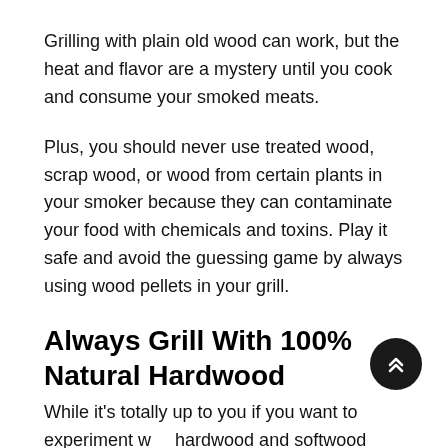Grilling with plain old wood can work, but the heat and flavor are a mystery until you cook and consume your smoked meats.
Plus, you should never use treated wood, scrap wood, or wood from certain plants in your smoker because they can contaminate your food with chemicals and toxins. Play it safe and avoid the guessing game by always using wood pellets in your grill.
Always Grill With 100% Natural Hardwood
While it's totally up to you if you want to experiment with hardwood and softwood pellets (most grills can burn either), we recommend always grilling with 100%